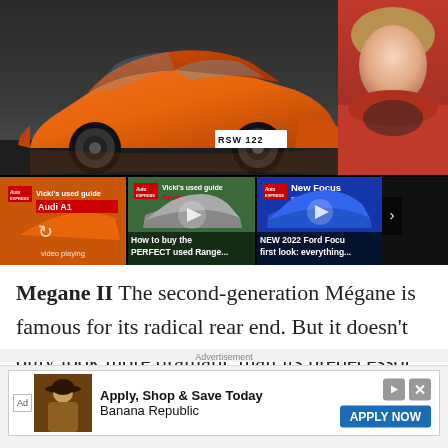[Figure (screenshot): Video player showing orange Audi A1 car with presenter thumbnail, and a row of three video thumbnails below: 'Audi A1 used guide - video playing', 'How to buy the PERFECT used Range...', 'NEW 2022 Ford Focus first look: everything...']
Megane II The second-generation Mégane is famous for its radical rear end. But it doesn't only look more dramatic than its predecessor; it's more refined, better to drive and comes loaded with equipment, too. The oil-burners now
Advertisement
[Figure (screenshot): Advertisement banner: Ad | cowboy image | Apply, Shop & Save Today / Banana Republic | APPLY NOW button]